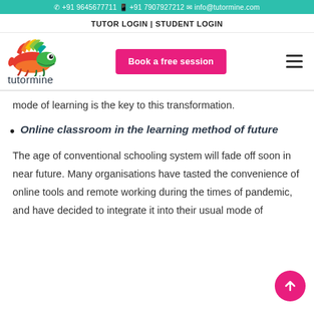+91 9645677711  +91 7907927212  info@tutormine.com
TUTOR LOGIN | STUDENT LOGIN
[Figure (logo): Tutormine logo with colorful chameleon and text 'tutormine']
mode of learning is the key to this transformation.
Online classroom in the learning method of future
The age of conventional schooling system will fade off soon in near future. Many organisations have tasted the convenience of online tools and remote working during the times of pandemic, and have decided to integrate it into their usual mode of